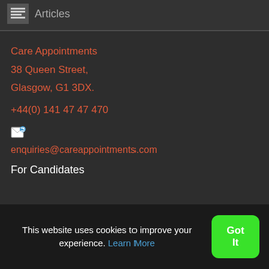Articles
Care Appointments
38 Queen Street,
Glasgow, G1 3DX.
+44(0) 141 47 47 470
enquiries@careappointments.com
For Candidates
This website uses cookies to improve your experience. Learn More